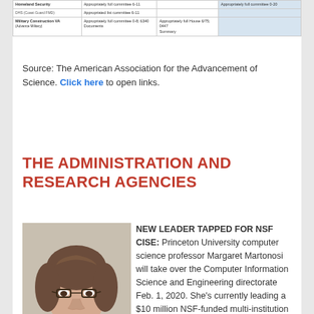| Homeland Security | Appropriately full committee 6-11 |  | Appropriately full committee 0-20 |
| --- | --- | --- | --- |
| DHS (Coast Guard FMD) | Appropriated list committee 6-11 |  |  |
| Military Construction VA (Advance Military) | Appropriately full committee 0-8; 6340 Documents | Appropriately full House 6/75; 0447 Summary |  |
Source: The American Association for the Advancement of Science. Click here to open links.
THE ADMINISTRATION AND RESEARCH AGENCIES
[Figure (photo): Headshot photo of Margaret Martonosi, a woman with short brown hair and glasses, smiling, wearing a light-colored top]
NEW LEADER TAPPED FOR NSF CISE: Princeton University computer science professor Margaret Martonosi will take over the Computer Information Science and Engineering directorate Feb. 1, 2020. She's currently leading a $10 million NSF-funded multi-institution effort "to jump-start the